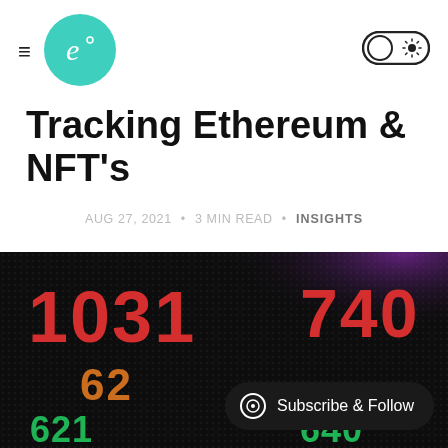≡ [logo] [toggle]
Tracking Ethereum & NFT's
AUG 27, 2021 • 3 MIN READ • INSIGHTS
[Figure (photo): Close-up of a dark LED stock ticker display showing large red numbers 1031 740, orange numbers 62..., and green numbers 621... 640..., representing financial market data]
Subscribe & Follow